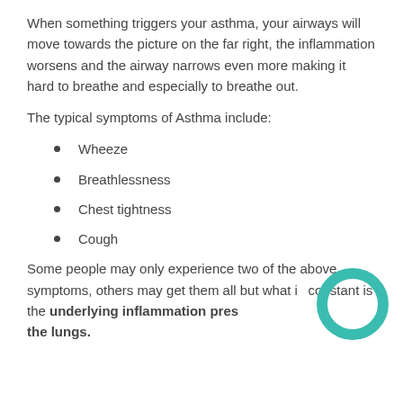When something triggers your asthma, your airways will move towards the picture on the far right, the inflammation worsens and the airway narrows even more making it hard to breathe and especially to breathe out.
The typical symptoms of Asthma include:
Wheeze
Breathlessness
Chest tightness
Cough
Some people may only experience two of the above symptoms, others may get them all but what is constant is the underlying inflammation present in the lungs.